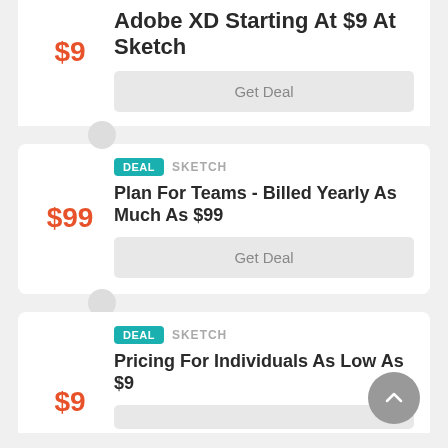Adobe XD Starting At $9 At Sketch
$9
Get Deal
DEAL  SKETCH
Plan For Teams - Billed Yearly As Much As $99
$99
Get Deal
DEAL  SKETCH
Pricing For Individuals As Low As $9
$9